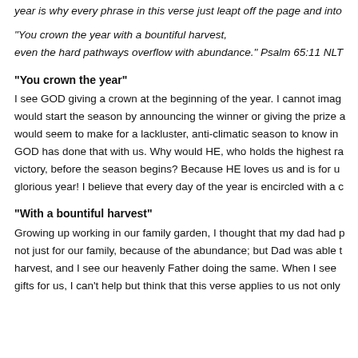year is why every phrase in this verse just leapt off the page and into
“You crown the year with a bountiful harvest, even the hard pathways overflow with abundance.” Psalm 65:11 NLT
“You crown the year”
I see GOD giving a crown at the beginning of the year. I cannot imag would start the season by announcing the winner or giving the prize a would seem to make for a lackluster, anti-climatic season to know in GOD has done that with us. Why would HE, who holds the highest ra victory, before the season begins? Because HE loves us and is for u glorious year! I believe that every day of the year is encircled with a c
“With a bountiful harvest”
Growing up working in our family garden, I thought that my dad had not just for our family, because of the abundance; but Dad was able harvest, and I see our heavenly Father doing the same. When I see gifts for us, I can’t help but think that this verse applies to us not only